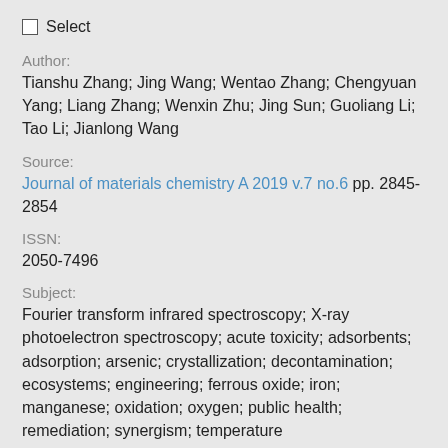☐ Select
Author:
Tianshu Zhang; Jing Wang; Wentao Zhang; Chengyuan Yang; Liang Zhang; Wenxin Zhu; Jing Sun; Guoliang Li; Tao Li; Jianlong Wang
Source:
Journal of materials chemistry A 2019 v.7 no.6 pp. 2845-2854
ISSN:
2050-7496
Subject:
Fourier transform infrared spectroscopy; X-ray photoelectron spectroscopy; acute toxicity; adsorbents; adsorption; arsenic; crystallization; decontamination; ecosystems; engineering; ferrous oxide; iron; manganese; oxidation; oxygen; public health; remediation; synergism; temperature
Abstract:
... Highly efficient decontamination of naturally occurring